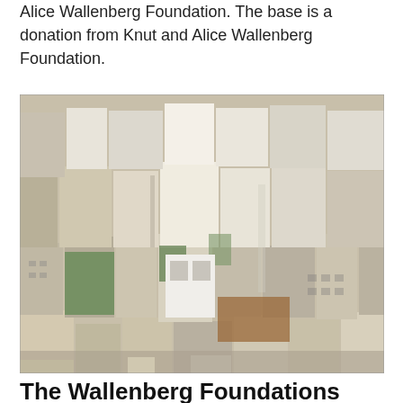Alice Wallenberg Foundation. The base is a donation from Knut and Alice Wallenberg Foundation.
[Figure (photo): Aerial view of a dense urban neighborhood with residential and commercial buildings, rooftops visible from above, San Francisco style architecture.]
The Wallenberg Foundations